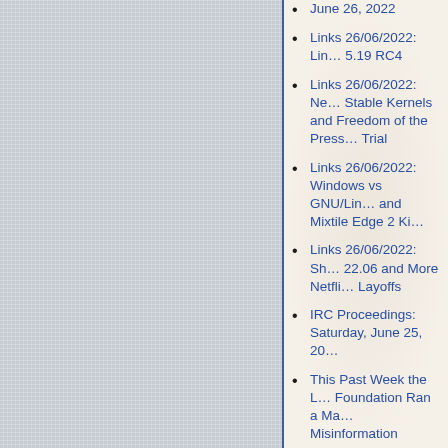June 26, 2022
Links 26/06/2022: Linux 5.19 RC4
Links 26/06/2022: New Stable Kernels and Freedom of the Press Trial
Links 26/06/2022: Windows vs GNU/Linux and Mixtile Edge 2 Kit
Links 26/06/2022: Shotcut 22.06 and More Netflix Layoffs
IRC Proceedings: Saturday, June 25, 2022
This Past Week the Linux Foundation Ran a Misinformation Campaign in Texas and It Paid Media/Publishers to Repeat Lies/Spin